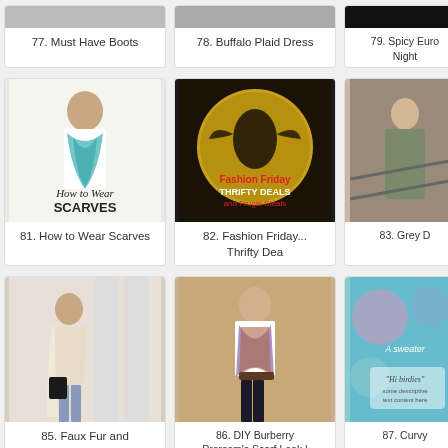77. Must Have Boots
78. Buffalo Plaid Dress
79. Spicy Euro Night
[Figure (photo): Woman wearing a teal/blue scarf draped over shoulders, text overlay: How to Wear SCARVES]
81. How to Wear Scarves
[Figure (photo): Fashion Friday Thrifty Deals and Frugal Steals circular logo image]
82. Fashion Friday... Thrifty Dea
[Figure (photo): Woman in grey vest/jacket outfit on outdoor steps]
83. Grey D
[Figure (photo): Woman in faux fur vest and jeans holding black bag near columns]
85. Faux Fur and Rockstuds
[Figure (photo): Woman wearing DIY Burberry scarf look with white top and dark jeans]
86. DIY Burberry Prorsom's Scarf Look | Diva la Diva
[Figure (photo): Partially visible card with teal/watercolor background text: A sweater, Hi birdies]
87. Curvy